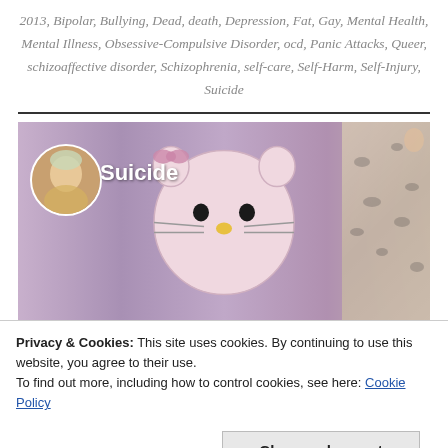2013, Bipolar, Bullying, Dead, death, Depression, Fat, Gay, Mental Health, Mental Illness, Obsessive-Compulsive Disorder, ocd, Panic Attacks, Queer, schizoaffective disorder, Schizophrenia, self-care, Self-Harm, Self-Injury, Suicide
[Figure (photo): A video thumbnail or image showing a person in a Hello Kitty mascot costume in the center, with a small profile picture of an elderly woman in the top left corner and the label 'Suicide' in white text. The right side shows a bed with patterned bedding.]
Privacy & Cookies: This site uses cookies. By continuing to use this website, you agree to their use.
To find out more, including how to control cookies, see here: Cookie Policy
Close and accept